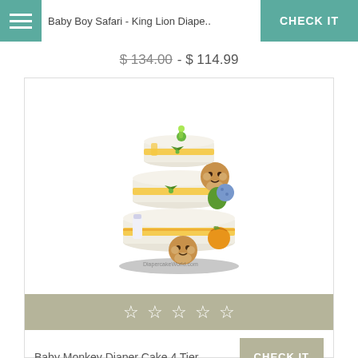Baby Boy Safari - King Lion Diape..
$ 134.00 - $ 114.99
[Figure (photo): A 4-tier baby monkey diaper cake decorated with orange and yellow ribbons, monkey stuffed animals, green bows, and baby products. Watermark reads DiapercakeWorld.com]
☆ ☆ ☆ ☆ ☆
Baby Monkey Diaper Cake 4 Tier
CHECK IT
$ 114.99